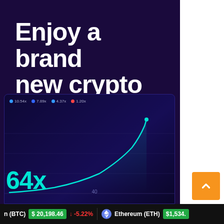[Figure (screenshot): Crypto gambling advertisement with dark purple background showing bold white text 'Enjoy a brand new crypto gambling experience' and a game interface showing a crash/multiplier chart with cyan curve, multiplier value '64x' in cyan, legend items showing 10.54x, 7.89x, 4.37x, 1.20x, and a bottom axis label '40']
Enjoy a brand new crypto gambling experience
64x
Bitcoin (BTC) $20,198.46 ↓ -5.22% Ethereum (ETH) $1,534.